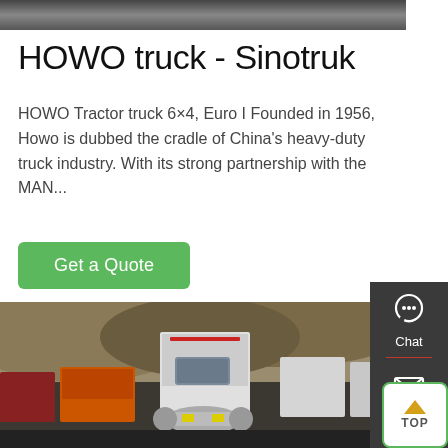[Figure (photo): Top portion of a truck or vehicle image, cropped at the top of the page]
HOWO truck - Sinotruk
HOWO Tractor truck 6×4, Euro I Founded in 1956, Howo is dubbed the cradle of China's heavy-duty truck industry. With its strong partnership with the MAN...
Get a Quote
[Figure (photo): Large yard/lot with multiple HOWO trucks parked, showing various colors including orange, red, white trucks]
[Figure (infographic): Sidebar with Chat, Email, Contact icons and a TOP scroll button]